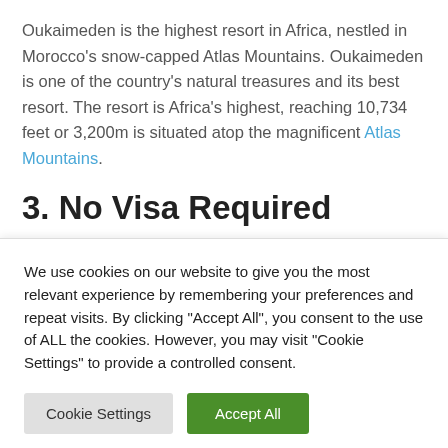Oukaimeden is the highest resort in Africa, nestled in Morocco's snow-capped Atlas Mountains. Oukaimeden is one of the country's natural treasures and its best resort. The resort is Africa's highest, reaching 10,734 feet or 3,200m is situated atop the magnificent Atlas Mountains.
3. No Visa Required
No Visa Required to Enter the country for 90 Days from Certain Countries If you're visiting Morocco from the UK,
We use cookies on our website to give you the most relevant experience by remembering your preferences and repeat visits. By clicking "Accept All", you consent to the use of ALL the cookies. However, you may visit "Cookie Settings" to provide a controlled consent.